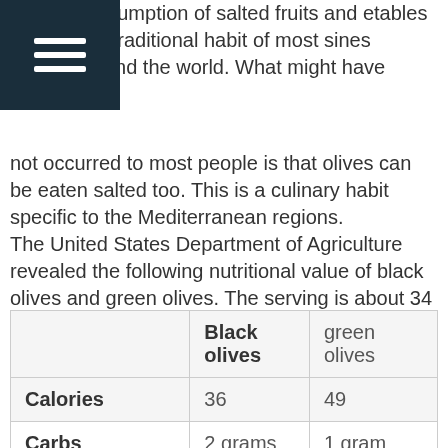consumption of salted fruits and etables is a traditional habit of most sines around the world. What might have not occurred to most people is that olives can be eaten salted too. This is a culinary habit specific to the Mediterranean regions. The United States Department of Agriculture revealed the following nutritional value of black olives and green olives. The serving is about 34 grams, which makes around 10 medium-sized olives.
|  | Black olives | green olives |
| --- | --- | --- |
| Calories | 36 | 49 |
| Carbs | 2 grams | 1 gram |
| Protein | less than 1 gram | less than 1 gram |